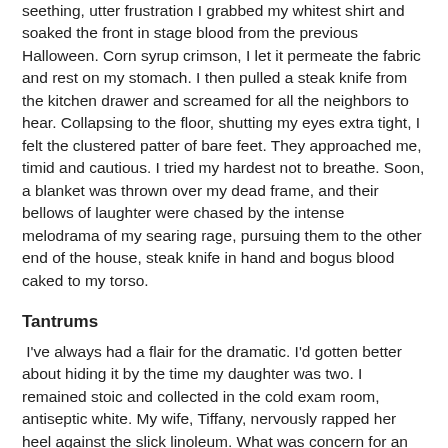seething, utter frustration I grabbed my whitest shirt and soaked the front in stage blood from the previous Halloween. Corn syrup crimson, I let it permeate the fabric and rest on my stomach. I then pulled a steak knife from the kitchen drawer and screamed for all the neighbors to hear. Collapsing to the floor, shutting my eyes extra tight, I felt the clustered patter of bare feet. They approached me, timid and cautious. I tried my hardest not to breathe. Soon, a blanket was thrown over my dead frame, and their bellows of laughter were chased by the intense melodrama of my searing rage, pursuing them to the other end of the house, steak knife in hand and bogus blood caked to my torso.
Tantrums
I've always had a flair for the dramatic. I'd gotten better about hiding it by the time my daughter was two. I remained stoic and collected in the cold exam room, antiseptic white. My wife, Tiffany, nervously rapped her heel against the slick linoleum. What was concern for an earache soon turned into questions about Harper's severely regressed speech. The doctor showed unnerving angst for the early stages of autism. That evening, I locked myself in my office. I shut the door tight and wept in secret. I wept and cursed and spat without shame. I slammed my fist on my desk. I knocked pens and paper to the floor. I stomped my feet and hit my head in